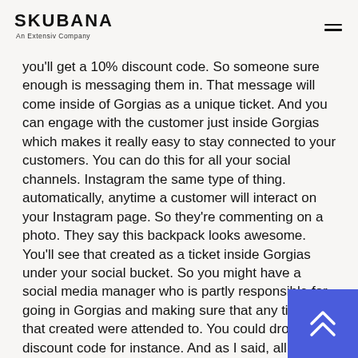SKUBANA An Extensiv Company
you'll get a 10% discount code. So someone sure enough is messaging them in. That message will come inside of Gorgias as a unique ticket. And you can engage with the customer just inside Gorgias which makes it really easy to stay connected to your customers. You can do this for all your social channels. Instagram the same type of thing. automatically, anytime a customer will interact on your Instagram page. So they're commenting on a photo. They say this backpack looks awesome. You'll see that created as a ticket inside Gorgias under your social bucket. So you might have a social media manager who is partly responsible for going in Gorgias and making sure that any tickets that created were attended to. You could drop in a 1 discount code for instance. And as I said, all of